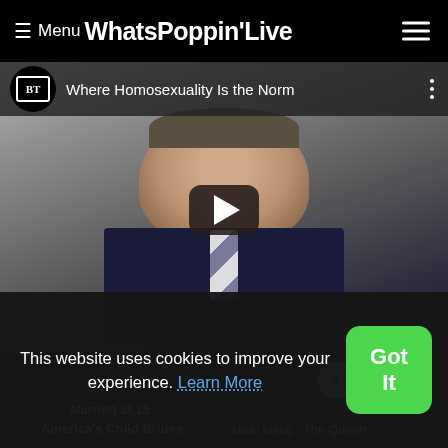≡ Menu WhatsPoppinʼLive
[Figure (screenshot): YouTube-style video thumbnail showing a person in a dark sweater and tie with the BT logo and title 'Where Homosexuality Is the Norm', with a play button overlay]
Married at 15: America's Child Brides
Nicki Minaj - The Queen
This website uses cookies to improve your experience. Learn More